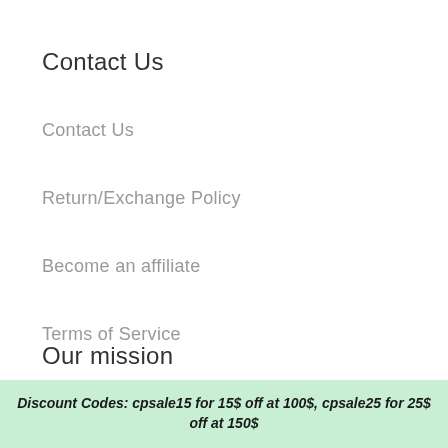Contact Us
Contact Us
Return/Exchange Policy
Become an affiliate
Terms of Service
Refund policy
Our mission
Discount Codes: cpsale15 for 15$ off at 100$, cpsale25 for 25$ off at 150$